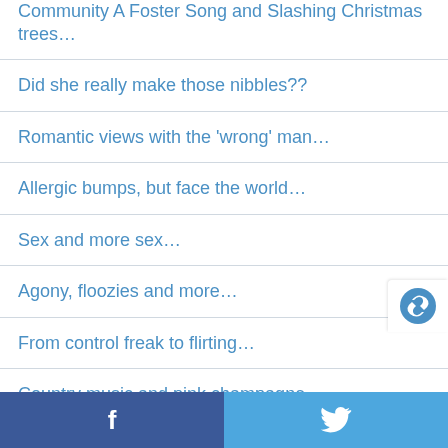Community A Foster Song and Slashing Christmas trees…
Did she really make those nibbles??
Romantic views with the 'wrong' man…
Allergic bumps, but face the world…
Sex and more sex…
Agony, floozies and more…
From control freak to flirting…
Country music and pink champagne…
Don't fear change…